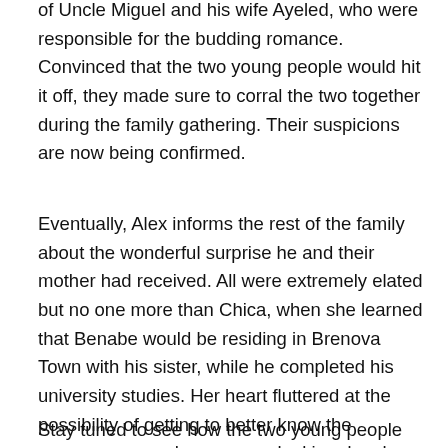of Uncle Miguel and his wife Ayeled, who were responsible for the budding romance. Convinced that the two young people would hit it off, they made sure to corral the two together during the family gathering. Their suspicions are now being confirmed.
Eventually, Alex informs the rest of the family about the wonderful surprise he and their mother had received. All were extremely elated but no one more than Chica, when she learned that Benabe would be residing in Brenova Town with his sister, while he completed his university studies. Her heart fluttered at the possibility of getting to better know the gorgeous man who was now looking deeply into her eyes. Could he finally be her “Forever Love” in the flesh?
Stay tuned to see how the two young people get to know one another in next 5 entitled “The First Time Ever” coming